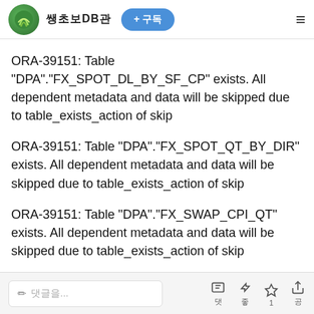쌩초보DB관 + 구독
ORA-39151: Table "DPA"."FX_SPOT_DL_BY_SF_CP" exists. All dependent metadata and data will be skipped due to table_exists_action of skip
ORA-39151: Table "DPA"."FX_SPOT_QT_BY_DIR" exists. All dependent metadata and data will be skipped due to table_exists_action of skip
ORA-39151: Table "DPA"."FX_SWAP_CPI_QT" exists. All dependent metadata and data will be skipped due to table_exists_action of skip
ORA-39151: Table "DPA"."FX_SWAP_DL_BY_SF_CP"